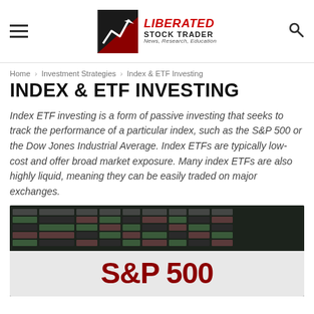Liberated Stock Trader – News, Research, Education
Home › Investment Strategies › Index & ETF Investing
INDEX & ETF INVESTING
Index ETF investing is a form of passive investing that seeks to track the performance of a particular index, such as the S&P 500 or the Dow Jones Industrial Average. Index ETFs are typically low-cost and offer broad market exposure. Many index ETFs are also highly liquid, meaning they can be easily traded on major exchanges.
[Figure (screenshot): Screenshot of a stock screener or ETF comparison table with colored cells (green/red) showing stock data, with a partial S&P 500 infographic visible at the bottom.]